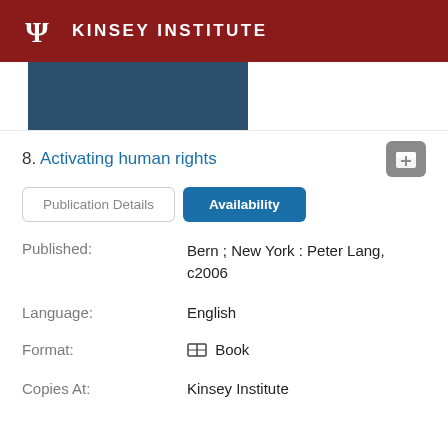KINSEY INSTITUTE
[Figure (other): Partial book cover image with dark blue background]
8. Activating human rights
Publication Details | Availability
| Field | Value |
| --- | --- |
| Published: | Bern ; New York : Peter Lang, c2006 |
| Language: | English |
| Format: | Book |
| Copies At: | Kinsey Institute |